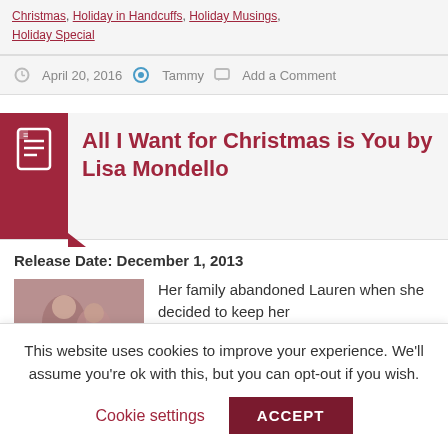Christmas, Holiday in Handcuffs, Holiday Musings, Holiday Special
April 20, 2016  Tammy  Add a Comment
All I Want for Christmas is You by Lisa Mondello
Release Date: December 1, 2013
[Figure (photo): Book cover photo showing two people in a romantic close-up]
Her family abandoned Lauren when she decided to keep her
This website uses cookies to improve your experience. We'll assume you're ok with this, but you can opt-out if you wish.
Cookie settings   ACCEPT